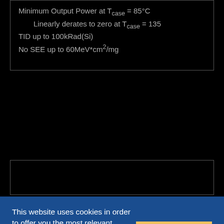Minimum Output Power at T_case = 85°C
  Linearly derates to zero at T_case = 135
TID up to 100kRad(Si)
No SEE up to 60MeV*cm²/mg
This website uses cookies in order to offer you the most relevant information. Please accept cookies for optimal performance.